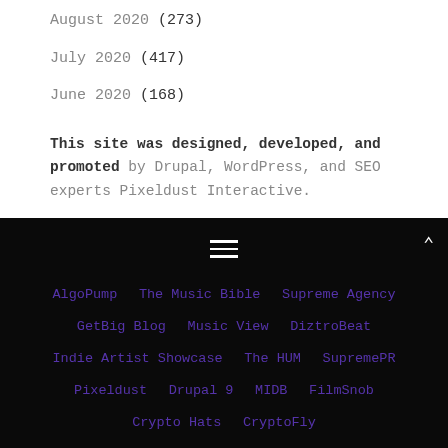August 2020 (273)
July 2020 (417)
June 2020 (168)
This site was designed, developed, and promoted by Drupal, WordPress, and SEO experts Pixeldust Interactive.
AlgoPump | The Music Bible | Supreme Agency | GetBig Blog | Music View | DiztroBeat | Indie Artist Showcase | The HUM | SupremePR | Pixeldust | Drupal 9 | MIDB | FilmSnob | Crypto Hats | CryptoFly